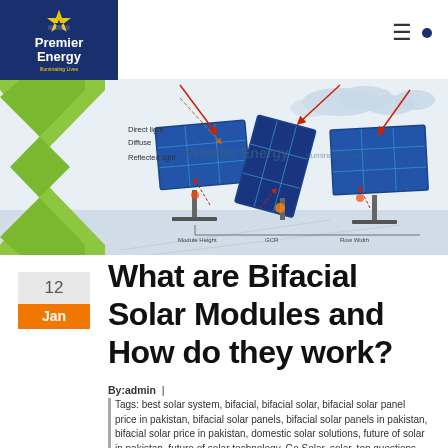[Figure (logo): Premier Energy logo — dark navy blue rectangle with sun/house icon and white text 'Premier Energy' with yellow tagline]
[Figure (illustration): Bifacial solar module diagram showing direct light, diffuse light, and reflected light hitting solar panels from front and back, with green chevron on left and clouds in background. Text overlay: 'Premier Energy — Illuminating Lives'. Labels: Module Height, GCR, Row Width.]
12
Jan
What are Bifacial Solar Modules and How do they work?
By:admin  |  Tags: best solar system, bifacial, bifacial solar, bifacial solar panel price in pakistan, bifacial solar panels, bifacial solar panels in pakistan, bifacial solar price in pakistan, domestic solar solutions, future of solar in pakistan, future of solar technology, Go Solar, solar, top questions businesses ask about solar energy in 2020